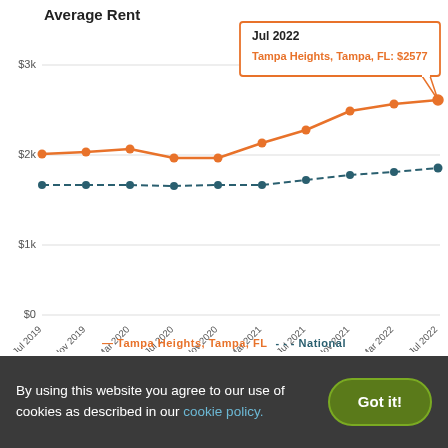Average Rent
[Figure (line-chart): Average Rent]
By using this website you agree to our use of cookies as described in our cookie policy.
Got it!